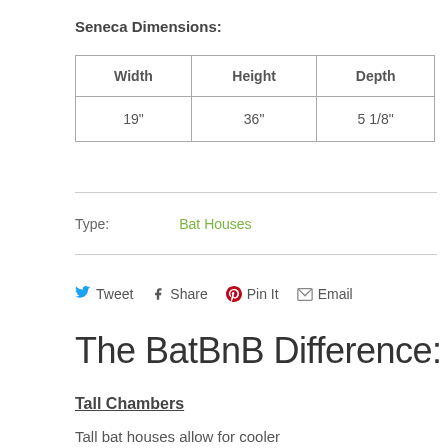Seneca Dimensions:
| Width | Height | Depth |
| --- | --- | --- |
| 19" | 36" | 5 1/8" |
Type:   Bat Houses
Tweet  Share  Pin It  Email
The BatBnB Difference:
Tall Chambers
Tall bat houses allow for cooler